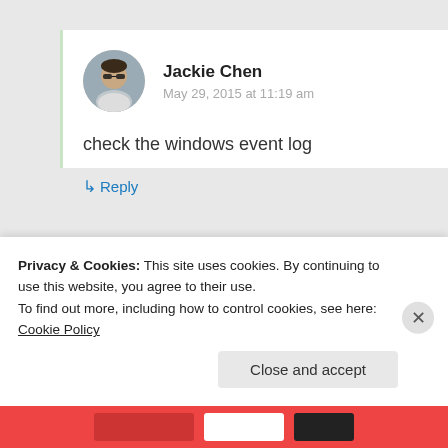Jackie Chen
May 29, 2015 at 11:19 am
check the windows event log
↳ Reply
Advertisements
Build a writing habit
Privacy & Cookies: This site uses cookies. By continuing to use this website, you agree to their use.
To find out more, including how to control cookies, see here: Cookie Policy
Close and accept